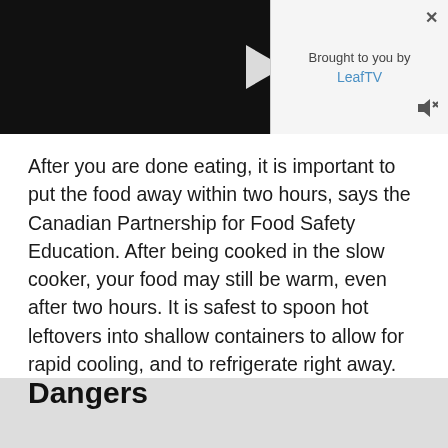[Figure (screenshot): Video player with black background and white play button triangle in center]
Brought to you by
LeafTV
After you are done eating, it is important to put the food away within two hours, says the Canadian Partnership for Food Safety Education. After being cooked in the slow cooker, your food may still be warm, even after two hours. It is safest to spoon hot leftovers into shallow containers to allow for rapid cooling, and to refrigerate right away. Refrigerating hot food in deep containers could allow the food in the center to remain warm enough for bacteria to multiply.
Dangers